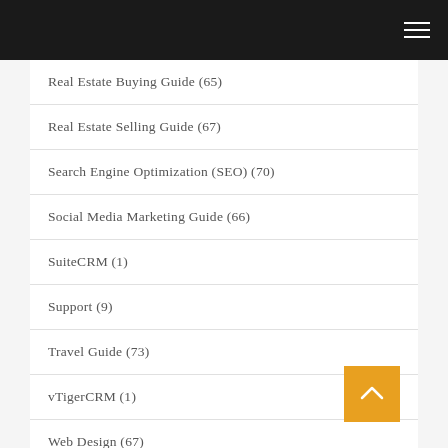Real Estate Buying Guide (65)
Real Estate Selling Guide (67)
Search Engine Optimization (SEO) (70)
Social Media Marketing Guide (66)
SuiteCRM (1)
Support (9)
Travel Guide (73)
vTigerCRM (1)
Web Design (67)
Weight Loss Guide (72)